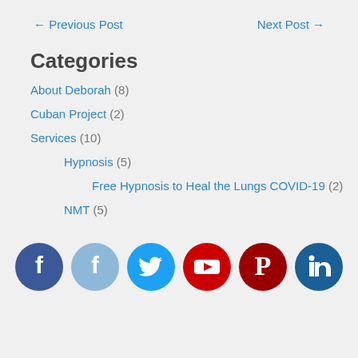← Previous Post
Next Post →
Categories
About Deborah (8)
Cuban Project (2)
Services (10)
Hypnosis (5)
Free Hypnosis to Heal the Lungs COVID-19 (2)
NMT (5)
[Figure (infographic): Six social media icons in circles: Facebook (dark blue), Facebook (light blue), Twitter (blue), YouTube (red), Pinterest (dark red), LinkedIn (dark blue)]